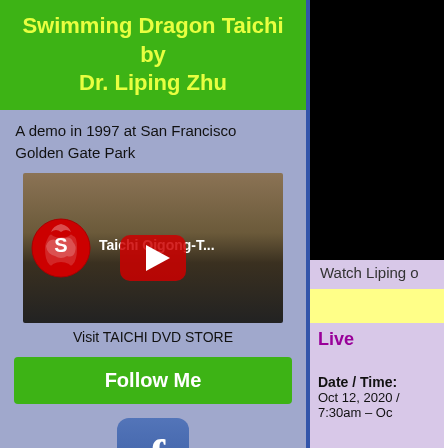Swimming Dragon Taichi by Dr. Liping Zhu
A demo in 1997 at San Francisco Golden Gate Park
[Figure (screenshot): YouTube video thumbnail showing 'Taichi Qigong-T...' with red play button and YouTube logo]
Visit TAICHI DVD STORE
Follow Me
[Figure (logo): Facebook icon/logo button]
[Figure (screenshot): Black video area on right column - Watch Liping content]
Watch Liping o
Live
Date / Time:
Oct 12, 2020 / 7:30am – Oc